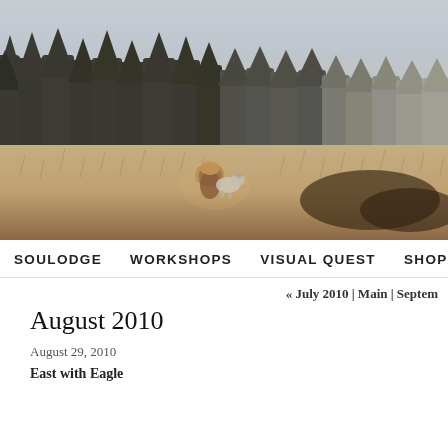[Figure (photo): Wide panoramic photo of a woman sitting in a golden grass field with a husky dog, framed by a line of dark evergreen trees and hazy sky in the background. Warm, muted tones.]
SOULODGE   WORKSHOPS   VISUAL QUEST   SHOP   SUB...
« July 2010 | Main | Septem...
August 2010
August 29, 2010
East with Eagle